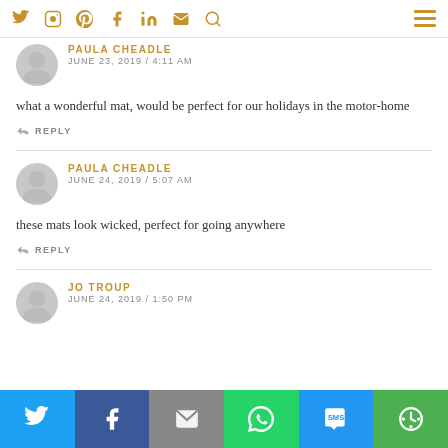Social icons header with Twitter, Instagram, Pinterest, Facebook, LinkedIn, Email, Search, and hamburger menu
PAULA CHEADLE
JUNE 23, 2019 / 4:11 AM
what a wonderful mat, would be perfect for our holidays in the motor-home
REPLY
PAULA CHEADLE
JUNE 24, 2019 / 5:07 AM
these mats look wicked, perfect for going anywhere
REPLY
JO TROUP
JUNE 24, 2019 / 1:50 PM
Share buttons: Twitter, Facebook, Email, WhatsApp, SMS, Other